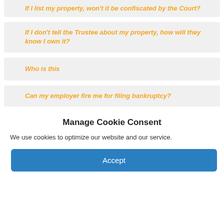If I list my property, won't it be confiscated by the Court?
If I don't tell the Trustee about my property, how will they know I own it?
Who is this
Can my employer fire me for filing bankruptcy?
Manage Cookie Consent
We use cookies to optimize our website and our service.
Accept